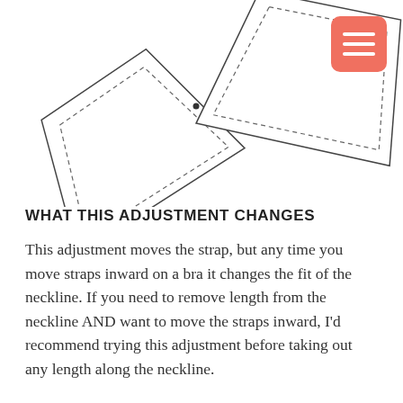[Figure (illustration): Sewing/tailoring pattern diagram showing two overlapping curved trapezoid-shaped pieces (bra pattern pieces) with dashed seam lines and a downward arrow indicating adjustment direction]
WHAT THIS ADJUSTMENT CHANGES
This adjustment moves the strap, but any time you move straps inward on a bra it changes the fit of the neckline. If you need to remove length from the neckline AND want to move the straps inward, I'd recommend trying this adjustment before taking out any length along the neckline.